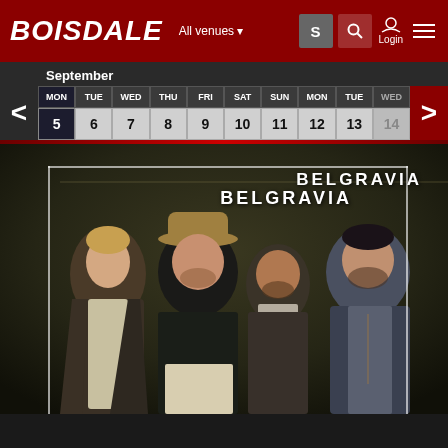BOISDALE — All venues — Login
| MON | TUE | WED | THU | FRI | SAT | SUN | MON | TUE | WED |
| --- | --- | --- | --- | --- | --- | --- | --- | --- | --- |
| 5 | 6 | 7 | 8 | 9 | 10 | 11 | 12 | 13 | 14 |
September
[Figure (photo): Promotional photo of the band Belgravia: four men standing, one in wide-brim hat and dark shirt, one in open jacket, one in suit, one casual. Text 'BELGRAVIA' in upper right corner.]